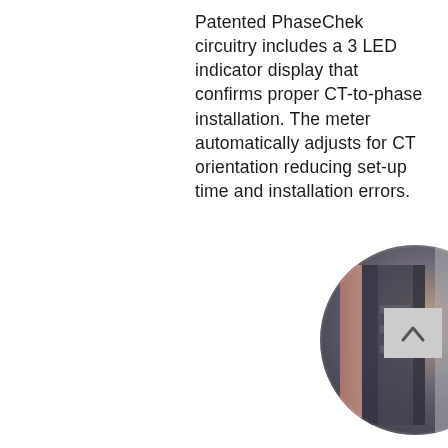Patented PhaseChek circuitry includes a 3 LED indicator display that confirms proper CT-to-phase installation. The meter automatically adjusts for CT orientation reducing set-up time and installation errors.
[Figure (photo): Circular cropped photo of an electrical meter or CT installation device, showing components in a panel or enclosure. Image is partially blurred.]